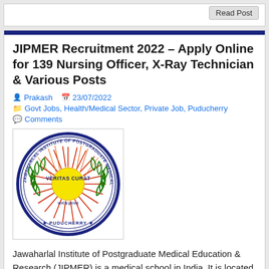Read Post
JIPMER Recruitment 2022 – Apply Online for 139 Nursing Officer, X-Ray Technician & Various Posts
Prakash  23/07/2022
Govt Jobs, Health/Medical Sector, Private Job, Puducherry
Comments
[Figure (logo): JIPMER (Jawaharlal Institute of Postgraduate Medical Education and Research) circular seal/logo with blue border, green laurel wreaths, red sunburst rays, yellow sun center, and text VERITAS CURAT and PUDUCHERRY]
Jawaharlal Institute of Postgraduate Medical Education & Research (JIPMER) is a medical school in India. It is located at Pondicherry, the capital of the union territory of